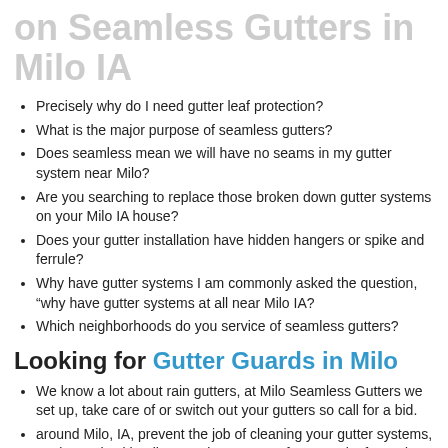on Seamless Gutters in Milo IA
Precisely why do I need gutter leaf protection?
What is the major purpose of seamless gutters?
Does seamless mean we will have no seams in my gutter system near Milo?
Are you searching to replace those broken down gutter systems on your Milo IA house?
Does your gutter installation have hidden hangers or spike and ferrule?
Why have gutter systems I am commonly asked the question, “why have gutter systems at all near Milo IA?
Which neighborhoods do you service of seamless gutters?
Looking for Gutter Guards in Milo
We know a lot about rain gutters, at Milo Seamless Gutters we set up, take care of or switch out your gutters so call for a bid.
around Milo, IA, prevent the job of cleaning your gutter systems, get in touch with Milo Seamless Gutters for gutter leaf guards installed.
As time passes we are getting older why not eliminate the